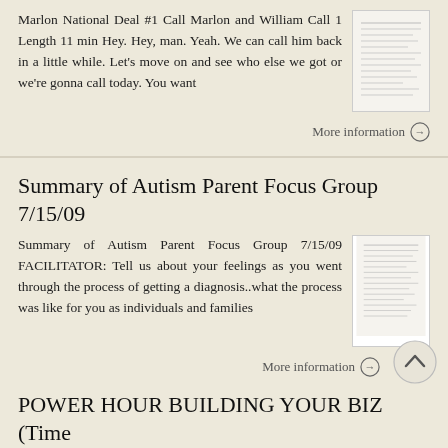Marlon National Deal #1 Call Marlon and William Call 1 Length 11 min Hey. Hey, man. Yeah. We can call him back in a little while. Let's move on and see who else we got or we're gonna call today. You want
More information →
Summary of Autism Parent Focus Group 7/15/09
Summary of Autism Parent Focus Group 7/15/09 FACILITATOR: Tell us about your feelings as you went through the process of getting a diagnosis..what the process was like for you as individuals and families
More information →
POWER HOUR BUILDING YOUR BIZ (Time